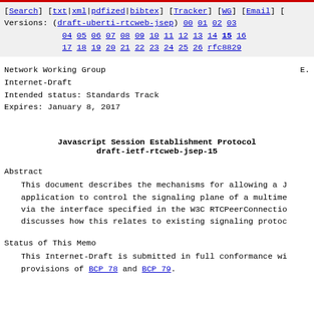[Search] [txt|xml|pdfized|bibtex] [Tracker] [WG] [Email] [ Versions: (draft-uberti-rtcweb-jsep) 00 01 02 03 04 05 06 07 08 09 10 11 12 13 14 15 16 17 18 19 20 21 22 23 24 25 26 rfc8829
Network Working Group
Internet-Draft
Intended status: Standards Track
Expires: January 8, 2017
E.
Javascript Session Establishment Protocol
draft-ietf-rtcweb-jsep-15
Abstract
This document describes the mechanisms for allowing a J application to control the signaling plane of a multime via the interface specified in the W3C RTCPeerConnectio discusses how this relates to existing signaling protoc
Status of This Memo
This Internet-Draft is submitted in full conformance wi provisions of BCP 78 and BCP 79.